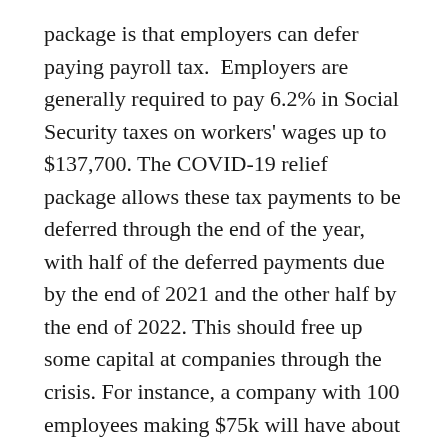package is that employers can defer paying payroll tax. Employers are generally required to pay 6.2% in Social Security taxes on workers' wages up to $137,700. The COVID-19 relief package allows these tax payments to be deferred through the end of the year, with half of the deferred payments due by the end of 2021 and the other half by the end of 2022. This should free up some capital at companies through the crisis. For instance, a company with 100 employees making $75k will have about $350k in payroll taxes eligible for this deferral.
In addition, companies who have seen gross